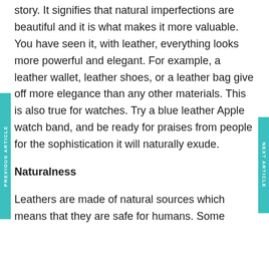story. It signifies that natural imperfections are beautiful and it is what makes it more valuable. You have seen it, with leather, everything looks more powerful and elegant. For example, a leather wallet, leather shoes, or a leather bag give off more elegance than any other materials. This is also true for watches. Try a blue leather Apple watch band, and be ready for praises from people for the sophistication it will naturally exude.
Naturalness
Leathers are made of natural sources which means that they are safe for humans. Some